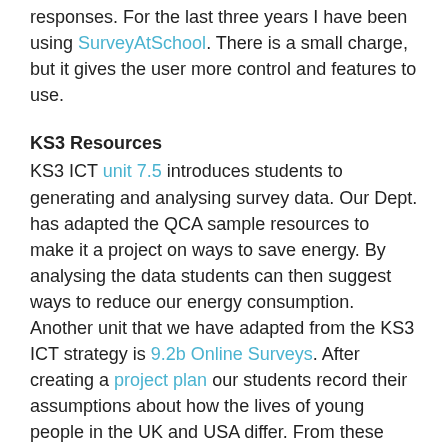responses. For the last three years I have been using SurveyAtSchool. There is a small charge, but it gives the user more control and features to use.
KS3 Resources
KS3 ICT unit 7.5 introduces students to generating and analysing survey data. Our Dept. has adapted the QCA sample resources to make it a project on ways to save energy. By analysing the data students can then suggest ways to reduce our energy consumption.
Another unit that we have adapted from the KS3 ICT strategy is 9.2b Online Surveys. After creating a project plan our students record their assumptions about how the lives of young people in the UK and USA differ. From these initial ideas they create hypotheses and then questions to prove/disprove them. We then compile the questions into one global survey and invite our link schools to participate. This year 1238 students took part!
The survey data is compiled and saved as a .csv file (comma seperated value). This can then be imported into a spreadsheet to be filtered and analysed. This year we taught